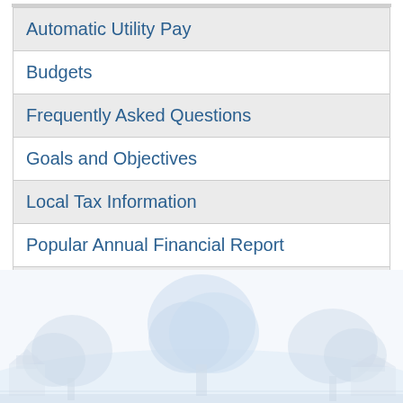Automatic Utility Pay
Budgets
Frequently Asked Questions
Goals and Objectives
Local Tax Information
Popular Annual Financial Report
Residential Utility Bills (Water & Sewer)
[Figure (illustration): Faint light blue watercolor-style illustration of a town scene with trees and buildings in the background, used as a decorative page footer image.]